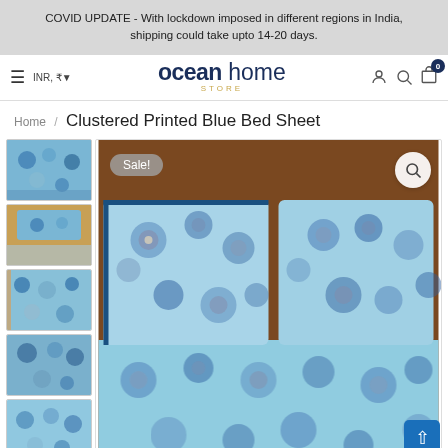COVID UPDATE - With lockdown imposed in different regions in India, shipping could take upto 14-20 days.
[Figure (screenshot): Ocean Home Store navigation bar with hamburger menu, INR currency selector, Ocean Home Store logo, user icon, search icon, and cart icon with badge showing 0]
Home / Clustered Printed Blue Bed Sheet
[Figure (photo): Product page showing Clustered Printed Blue Bed Sheet with five thumbnail images on the left and a main product image on the right showing blue floral printed bed sheet with two pillowcases on a bed. Sale badge in top left, zoom button in top right.]